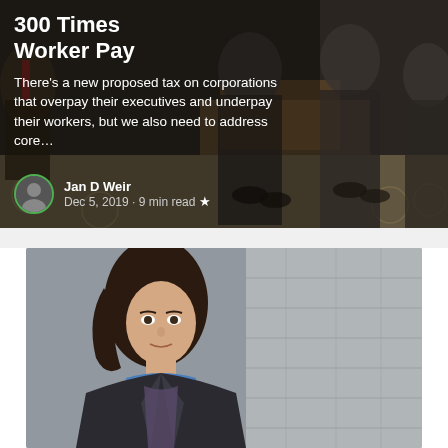[Figure (photo): Dark background photo showing suited businessmen seated in a formal setting, partially visible]
300 Times Worker Pay
There's a new proposed tax on corporations that overpay their executives and underpay their workers, but we also need to address core...
Jan D Weir · Dec 5, 2019 · 9 min read ★
[Figure (photo): A woman with dark hair in a blue collared jacket walking in an urban setting with stone building in background]